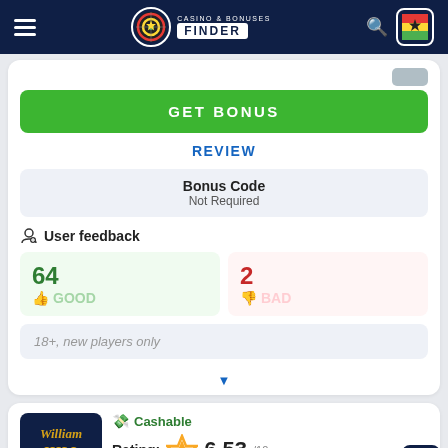CASINO & BONUSES FINDER
GET BONUS
REVIEW
| Bonus Code |
| --- |
| Not Required |
User feedback
64 GOOD
2 BAD
18+, new players only
Cashable
Rating: 6.53/10